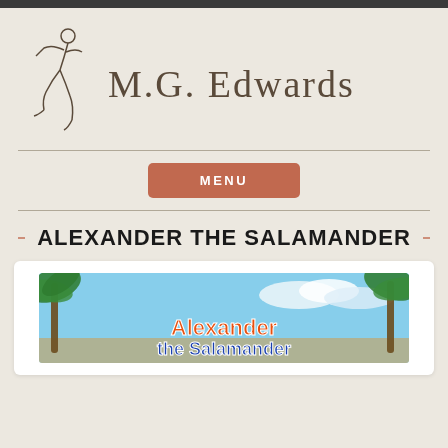[Figure (logo): M.G. Edwards author logo: sketch of a dancing figure on the left, stylized text 'M.G. Edwards' on the right, on a beige background]
MENU
ALEXANDER THE SALAMANDER
[Figure (illustration): Book cover for Alexander the Salamander showing tropical palm trees, sky with clouds, and colorful orange and blue title text at the bottom]